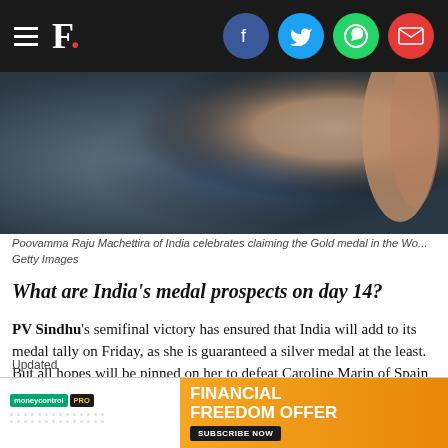F. [Firstpost logo with social icons: Facebook, Twitter, WhatsApp, Email]
[Figure (photo): Blurred photo of Poovamma Raju Machettira of India celebrating claiming the Gold medal. A hand/arm visible on right side against blue background.]
Poovamma Raju Machettira of India celebrates claiming the Gold medal in the Wo... Getty Images
What are India's medal prospects on day 14?
PV Sindhu's semifinal victory has ensured that India will add to its medal tally on Friday, as she is guaranteed a silver medal at the least. But all hopes will be pinned on her to defeat Caroline Marin of Spain to clinch India's first gold medal at the Rio Olympics, and only the second individual Olympic gold.
Elsewhere, the athletics events – the men's 50 km walk, women's 20 km walk, men's 4X100 relay and women's 4X100 relay – a... tally.
Updated
[Figure (other): Moneycontrol PRO advertisement - FINANCIAL FREEDOM OFFER with SUBSCRIBE NOW button on orange background]